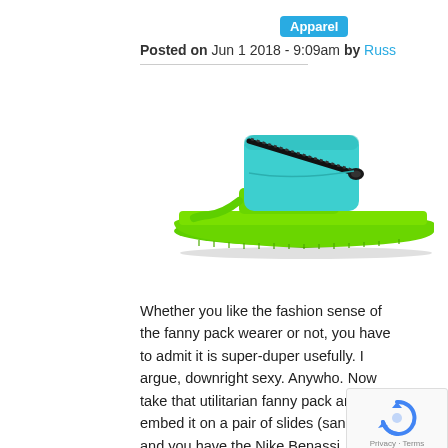Apparel
Posted on Jun 1 2018 - 9:09am by Russ
[Figure (photo): Nike Benassi JDI Fanny Pack Slide sandal in green with a teal/blue zipper pouch on top, shown in side profile on white background]
Whether you like the fashion sense of the fanny pack wearer or not, you have to admit it is super-duper usefully. I argue, downright sexy. Anywho. Now take that utilitarian fanny pack and embed it on a pair of slides (sandals) and you have the Nike Benassi JDI Fanny Pack Slides. Available in black, black/pink, and green/blue. Great for lugging keys,